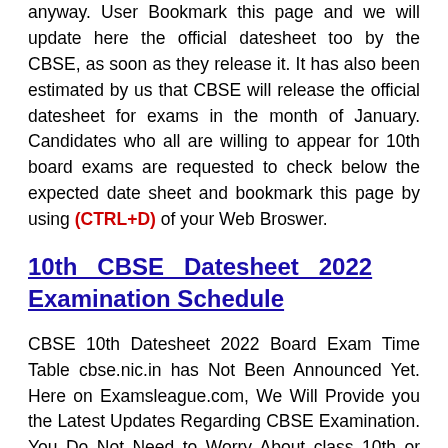anyway. User Bookmark this page and we will update here the official datesheet too by the CBSE, as soon as they release it. It has also been estimated by us that CBSE will release the official datesheet for exams in the month of January. Candidates who all are willing to appear for 10th board exams are requested to check below the expected date sheet and bookmark this page by using (CTRL+D) of your Web Broswer.
10th CBSE Datesheet 2022 Examination Schedule
CBSE 10th Datesheet 2022 Board Exam Time Table cbse.nic.in has Not Been Announced Yet. Here on Examsleague.com, We Will Provide you the Latest Updates Regarding CBSE Examination. You Do Not Need to Worry About class 10th or 12th